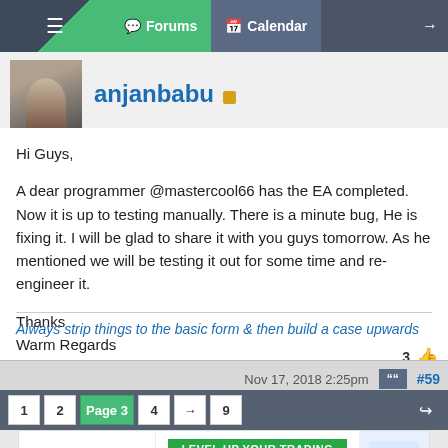Forums | Calendar
anjanbabu
Hi Guys,

A dear programmer @mastercool66 has the EA completed. Now it is up to testing manually. There is a minute bug, He is fixing it. I will be glad to share it with you guys tomorrow. As he mentioned we will be testing it out for some time and re-engineer it.

Thanks
Warm Regards
Always strip things to the basic form & then build a case upwards
Nov 17, 2018 2:25pm  #59
1  2  Page 3  4  →  9